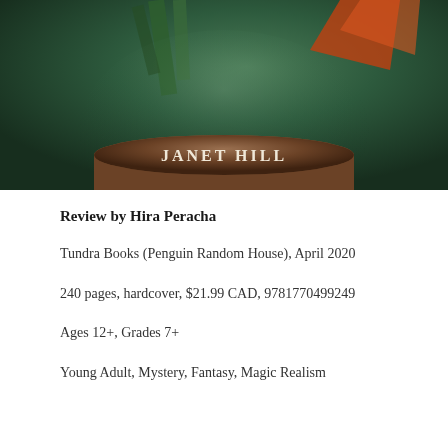[Figure (illustration): Book cover detail showing author name JANET HILL on a brown pedestal/globe base against a dark green background with orange and green decorative elements]
Review by Hira Peracha
Tundra Books (Penguin Random House), April 2020
240 pages, hardcover, $21.99 CAD, 9781770499249
Ages 12+, Grades 7+
Young Adult, Mystery, Fantasy, Magic Realism